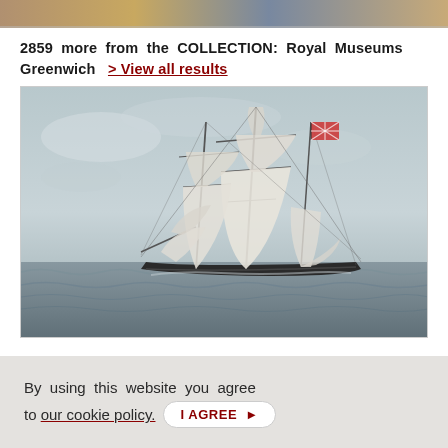[Figure (photo): Top strip showing a cropped portion of a painting or image at the very top of the page]
2859 more from the COLLECTION: Royal Museums Greenwich > View all results
[Figure (illustration): Painting of a tall sailing ship with white sails fully deployed, flying a British Union Jack flag, sailing on grey choppy seas under a pale sky. The ship appears to be a 19th century vessel rendered in a muted, faded watercolor or oil painting style.]
By using this website you agree to our cookie policy. I AGREE >